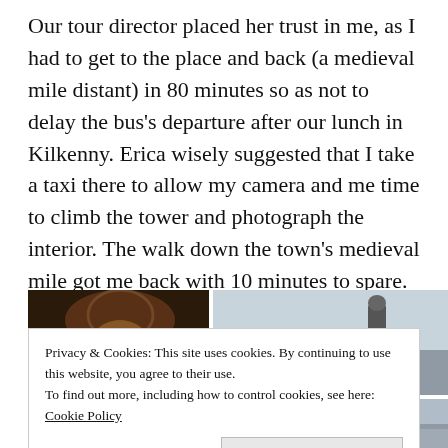Our tour director placed her trust in me, as I had to get to the place and back (a medieval mile distant) in 80 minutes so as not to delay the bus's departure after our lunch in  Kilkenny. Erica wisely suggested that I take a taxi there to allow my camera and me time to climb the tower and photograph the interior. The walk down the town's medieval mile got me back with 10 minutes to spare.
[Figure (photo): Two photos partially visible: left shows a dark brown arched stone interior (church or castle), right shows an outdoor grey sky scene with a small dark figure (statue or person)]
Privacy & Cookies: This site uses cookies. By continuing to use this website, you agree to their use.
To find out more, including how to control cookies, see here: Cookie Policy
Close and accept
[Figure (photo): Bottom strip of two photos: left is a dark interior scene, right shows an outdoor road or path]